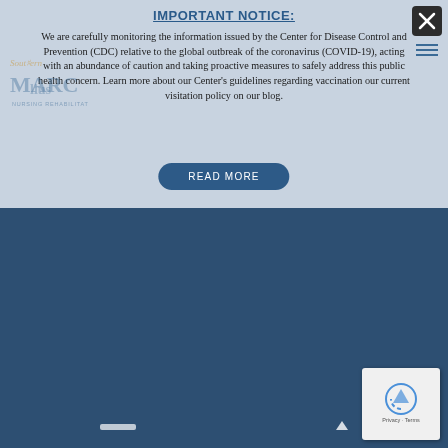IMPORTANT NOTICE:
We are carefully monitoring the information issued by the Center for Disease Control and Prevention (CDC) relative to the global outbreak of the coronavirus (COVID-19), acting with an abundance of caution and taking proactive measures to safely address this public health concern. Learn more about our Center’s guidelines regarding vaccination our current visitation policy on our blog.
READ MORE
[Figure (screenshot): Dark blue lower section of a website, partially visible navigation or content area with reCAPTCHA widget in bottom right corner and a small white dash element at bottom left.]